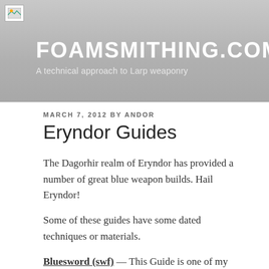FOAMSMITHING.COM
A technical approach to Larp weaponry
MARCH 7, 2012 BY ANDOR
Eryndor Guides
The Dagorhir realm of Eryndor has provided a number of great blue weapon builds. Hail Eryndor!
Some of these guides have some dated techniques or materials.
Bluesword (swf) — This Guide is one of my favorites. It is very well put together, clean and thorough. The only downside to the guide is that it suggests PVC for a core. PVC is acceptable for first time or quick and dirty builds, but for any weapon that will be around for a while, fiberglass…